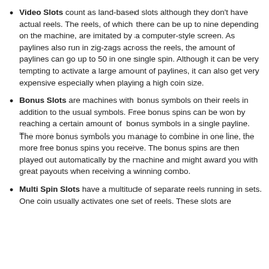paylines can be played – three lines across plus two diagonal lines.
Video Slots count as land-based slots although they don't have actual reels. The reels, of which there can be up to nine depending on the machine, are imitated by a computer-style screen. As paylines also run in zig-zags across the reels, the amount of paylines can go up to 50 in one single spin. Although it can be very tempting to activate a large amount of paylines, it can also get very expensive especially when playing a high coin size.
Bonus Slots are machines with bonus symbols on their reels in addition to the usual symbols. Free bonus spins can be won by reaching a certain amount of bonus symbols in a single payline. The more bonus symbols you manage to combine in one line, the more free bonus spins you receive. The bonus spins are then played out automatically by the machine and might award you with great payouts when receiving a winning combo.
Multi Spin Slots have a multitude of separate reels running in sets. One coin usually activates one set of reels. These slots are